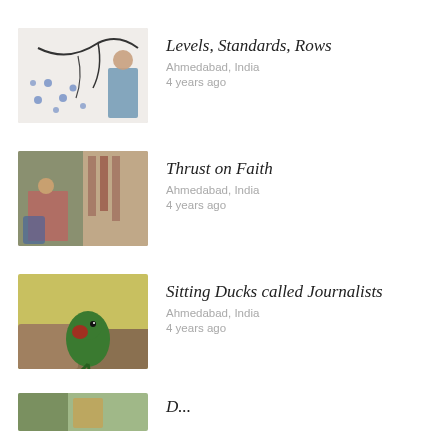[Figure (photo): Photo of woman standing against a wall with floral decoration]
Levels, Standards, Rows
Ahmedabad, India
4 years ago
[Figure (photo): Photo of women in traditional Indian attire near market]
Thrust on Faith
Ahmedabad, India
4 years ago
[Figure (photo): Close-up photo of a green parrot]
Sitting Ducks called Journalists
Ahmedabad, India
4 years ago
[Figure (photo): Partial photo, partially visible at bottom]
Partially visible title at bottom